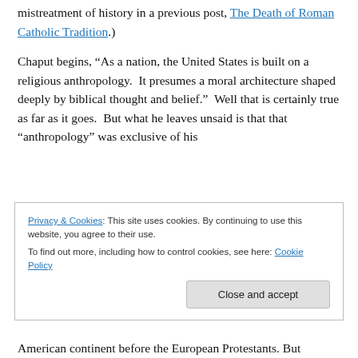mistreatment of history in a previous post, The Death of Roman Catholic Tradition.)
Chaput begins, “As a nation, the United States is built on a religious anthropology.  It presumes a moral architecture shaped deeply by biblical thought and belief.”  Well that is certainly true as far as it goes.  But what he leaves unsaid is that that “anthropology” was exclusive of his
Privacy & Cookies: This site uses cookies. By continuing to use this website, you agree to their use.
To find out more, including how to control cookies, see here: Cookie Policy
Close and accept
American continent before the European Protestants.  But